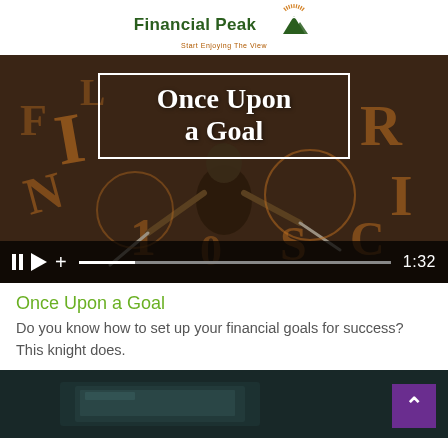[Figure (logo): Financial Peak logo with mountain icon and tagline 'Start Enjoying The View']
[Figure (screenshot): Video player showing animated knight with swords, title 'Once Upon a Goal', duration 1:32, with playback controls at bottom]
Once Upon a Goal
Do you know how to set up your financial goals for success? This knight does.
[Figure (photo): Partial photo at bottom showing dark background with what appears to be a tablet or device screen]